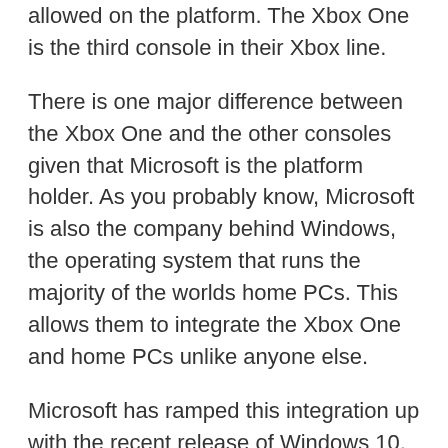the hardware and control the games that are allowed on the platform. The Xbox One is the third console in their Xbox line.
There is one major difference between the Xbox One and the other consoles given that Microsoft is the platform holder. As you probably know, Microsoft is also the company behind Windows, the operating system that runs the majority of the worlds home PCs. This allows them to integrate the Xbox One and home PCs unlike anyone else.
Microsoft has ramped this integration up with the recent release of Windows 10. Windows 10 comes with the Xbox app that allows you to stream Xbox One games to your PC, create gameplay clips just like on the Xbox One, and chat with players on either the PC or console.